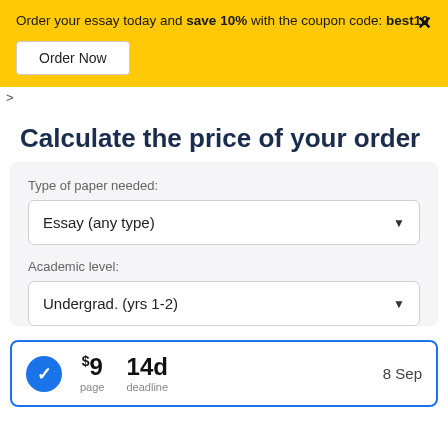Order your essay today and save 10% with the coupon code: best10
Order Now
Calculate the price of your order
Type of paper needed:
Essay (any type)
Academic level:
Undergrad. (yrs 1-2)
$9 page  14d deadline  8 Sep